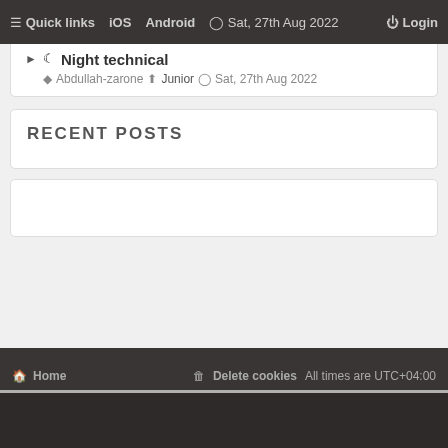≡ Quick links  iOS  Android  Sat, 27th Aug 2022  ⏻ Login
▶ 🌙 Night technical — Abdullah-zarone ⬆ Junior 🕐 Sat, 27th Aug 2022
RECENT POSTS
🏠 Home  🗑 Delete cookies  All times are UTC+04:00